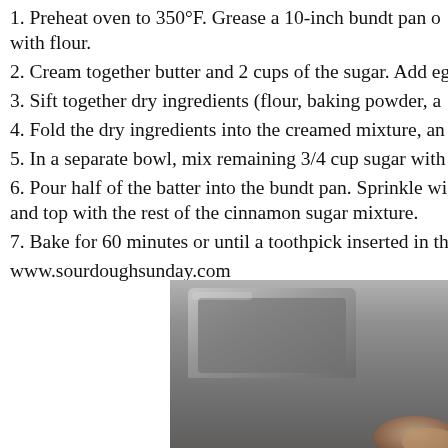1. Preheat oven to 350°F. Grease a 10-inch bundt pan or with flour.
2. Cream together butter and 2 cups of the sugar. Add eg
3. Sift together dry ingredients (flour, baking powder, ar
4. Fold the dry ingredients into the creamed mixture, an
5. In a separate bowl, mix remaining 3/4 cup sugar with
6. Pour half of the batter into the bundt pan. Sprinkle wi and top with the rest of the cinnamon sugar mixture.
7. Bake for 60 minutes or until a toothpick inserted in th
www.sourdoughsunday.com
[Figure (photo): Photo of a bundt pan on a dark surface, showing the metallic pan from above with some baked crumble or topping visible at the bottom right corner.]